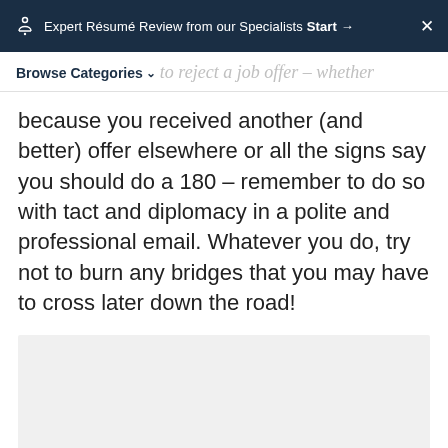Expert Résumé Review from our Specialists Start → ×
Browse Categories
to reject a job offer – whether because you received another (and better) offer elsewhere or all the signs say you should do a 180 – remember to do so with tact and diplomacy in a polite and professional email. Whatever you do, try not to burn any bridges that you may have to cross later down the road!